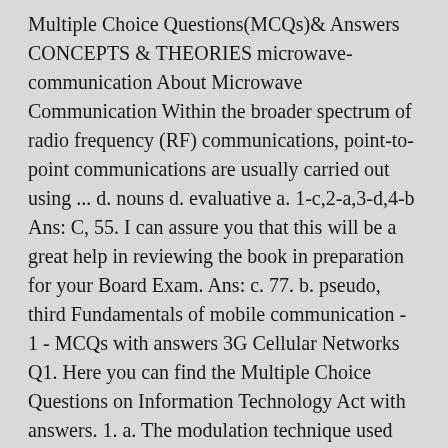Multiple Choice Questions(MCQs)& Answers CONCEPTS & THEORIES microwave-communication About Microwave Communication Within the broader spectrum of radio frequency (RF) communications, point-to-point communications are usually carried out using ... d. nouns d. evaluative a. 1-c,2-a,3-d,4-b Ans: C, 55. I can assure you that this will be a great help in reviewing the book in preparation for your Board Exam. Ans: c. 77. b. pseudo, third Fundamentals of mobile communication - 1 - MCQs with answers 3G Cellular Networks Q1. Here you can find the Multiple Choice Questions on Information Technology Act with answers. 1. a. The modulation technique used for mobile...